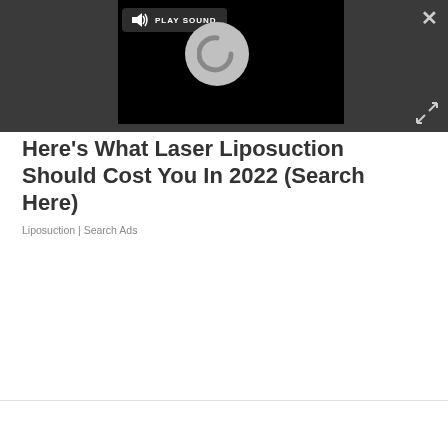[Figure (screenshot): Video player embedded in dark bar showing a loading spinner (circular C shape) on black background, with a 'PLAY SOUND' button overlay in top-left of video. Close (X) button top-right of dark bar. Expand arrows icon at bottom-right of dark bar.]
Here's What Laser Liposuction Should Cost You In 2022 (Search Here)
Liposuction | Search Ads